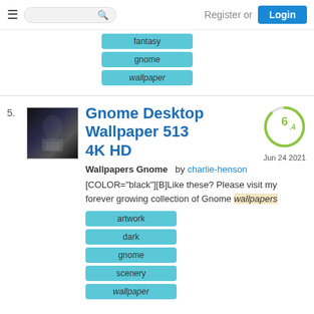Register or Login
fantasy
gnome
wallpaper
5.
[Figure (photo): Thumbnail image of dark fantasy desktop wallpaper with misty/atmospheric scene]
Gnome Desktop Wallpaper 513 4K HD
[Figure (infographic): Score circle showing 6.4, date Jun 24 2021]
Wallpapers Gnome by charlie-henson
[COLOR="black"][B]Like these? Please visit my forever growing collection of Gnome wallpapers
artwork
dark
gnome
scenery
wallpaper